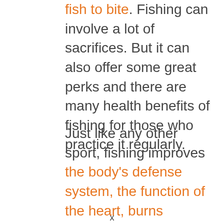fish to bite. Fishing can involve a lot of sacrifices. But it can also offer some great perks and there are many health benefits of fishing for those who practice it regularly.
Just like any other sport, fishing improves the body's defense system, the function of the heart, burns calories, and strengthens many